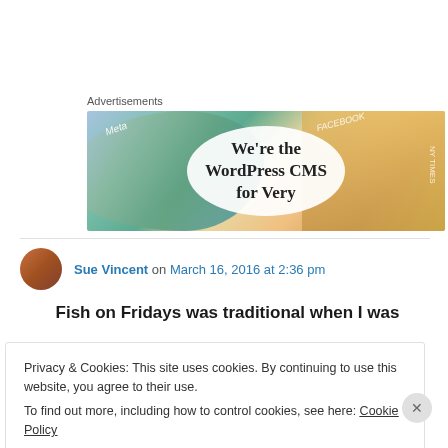[Figure (screenshot): Advertisement banner showing cards with Meta, Facebook, NY Times logos and text 'We're the WordPress CMS for Very']
Sue Vincent on March 16, 2016 at 2:36 pm
Fish on Fridays was traditional when I was
Privacy & Cookies: This site uses cookies. By continuing to use this website, you agree to their use.
To find out more, including how to control cookies, see here: Cookie Policy